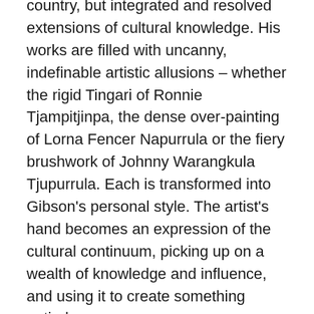country, but integrated and resolved extensions of cultural knowledge. His works are filled with uncanny, indefinable artistic allusions – whether the rigid Tingari of Ronnie Tjampitjinpa, the dense over-painting of Lorna Fencer Napurrula or the fiery brushwork of Johnny Warangkula Tjupurrula. Each is transformed into Gibson's personal style. The artist's hand becomes an expression of the cultural continuum, picking up on a wealth of knowledge and influence, and using it to create something entirely new.
The Dreamings that underpin Gibson's ancestral country are brought forward via his unique painterly style. This double-take between the familiar and the idiosyncratic is the central tension that drives the work. This distinction between the shared/communal cultural experience and the